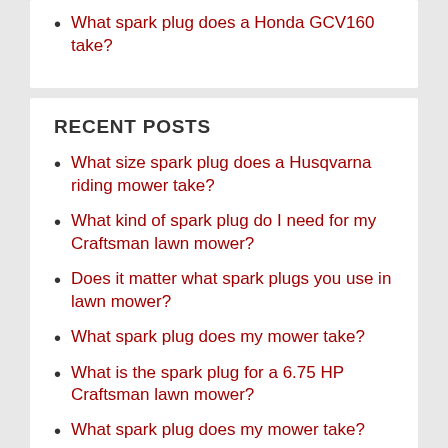What spark plug does a Honda GCV160 take?
RECENT POSTS
What size spark plug does a Husqvarna riding mower take?
What kind of spark plug do I need for my Craftsman lawn mower?
Does it matter what spark plugs you use in lawn mower?
What spark plug does my mower take?
What is the spark plug for a 6.75 HP Craftsman lawn mower?
What spark plug does my mower take?